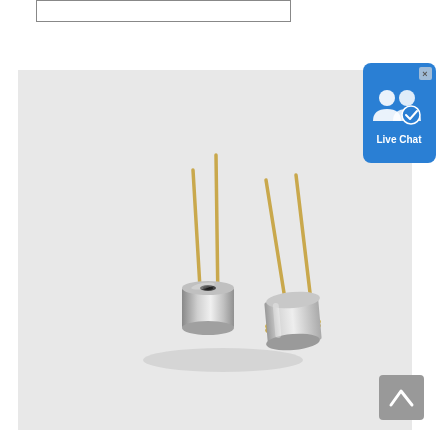[Figure (photo): Search input box, partially visible at top of page]
[Figure (photo): Two laser diode components (TO-can package with gold pins) on a light grey background, shown side by side at an angle. Each has a cylindrical silver metal body with a gold flange ring and two gold leads extending upward.]
[Figure (other): Live Chat button widget - blue rounded square with two person silhouette icons and a checkmark badge, labeled 'Live Chat']
[Figure (other): Scroll to top button - grey rounded square with upward chevron arrow]